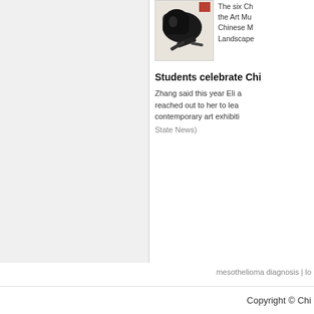[Figure (photo): A black ink painting/artwork with abstract brushstrokes on a light background, with a small red mark visible in the upper right area.]
The six Ch... the Art Mu... Chinese M... Landscape...
Students celebrate Chi...
Zhang said this year Eli a... reached out to her to lear... contemporary art exhibiti... State News)
mesothelioma diagnosis | lo...
Copyright © Chi...